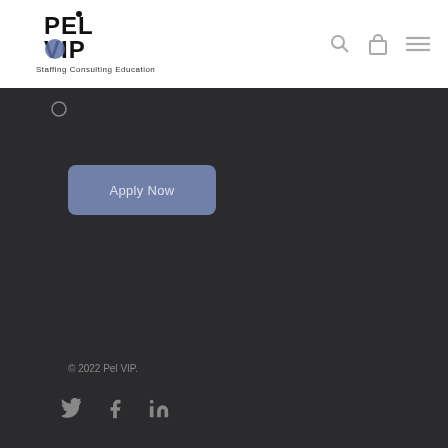[Figure (logo): PEL VIP Staffing Consulting Education logo in black and white]
[Figure (other): Navigation icons: search (magnifying glass), cart (bag), and hamburger menu]
Apply Now
© 2022 Pel VIP.
[Figure (other): Social media icons: Twitter bird, Facebook F, LinkedIn in]